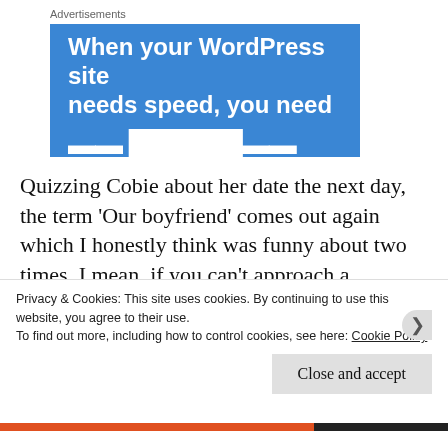Advertisements
[Figure (illustration): Blue advertisement banner reading 'When your WordPress site needs speed, you need' with more text cut off at bottom]
Quizzing Cobie about her date the next day, the term 'Our boyfriend' comes out again which I honestly think was funny about two times. I mean, if you can't approach a situation where a man is dating
Privacy & Cookies: This site uses cookies. By continuing to use this website, you agree to their use.
To find out more, including how to control cookies, see here: Cookie Policy
Close and accept